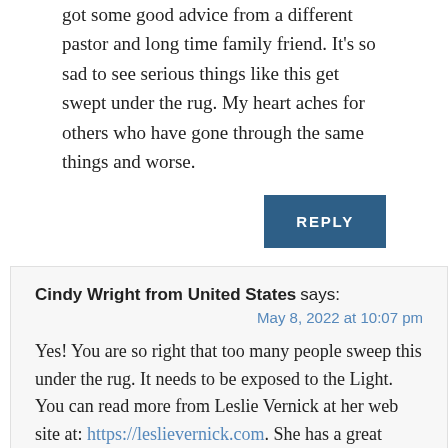go home and be a good little wife. Thankfully, she later got some good advice from a different pastor and long time family friend. It's so sad to see serious things like this get swept under the rug. My heart aches for others who have gone through the same things and worse.
REPLY
Cindy Wright from United States says:
May 8, 2022 at 10:07 pm
Yes! You are so right that too many people sweep this under the rug. It needs to be exposed to the Light. You can read more from Leslie Vernick at her web site at: https://leslievernick.com. She has a great ministry as she tries to help the abused become